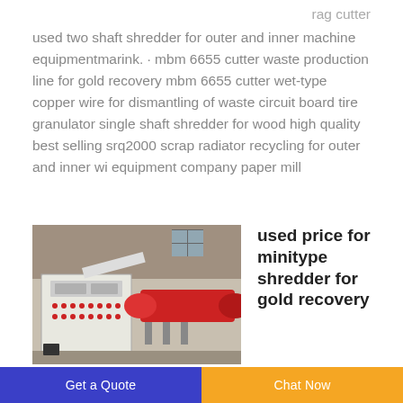rag cutter used two shaft shredder for outer and inner machine equipmentmarink. · mbm 6655 cutter waste production line for gold recovery mbm 6655 cutter wet-type copper wire for dismantling of waste circuit board tire granulator single shaft shredder for wood high quality best selling srq2000 scrap radiator recycling for outer and inner wi equipment company paper mill
[Figure (photo): Industrial machine with a white control panel on the left side with buttons and displays, and a red cylindrical component on the right, in a factory or warehouse setting.]
used price for minitype shredder for gold recovery
Get a Quote | Chat Now